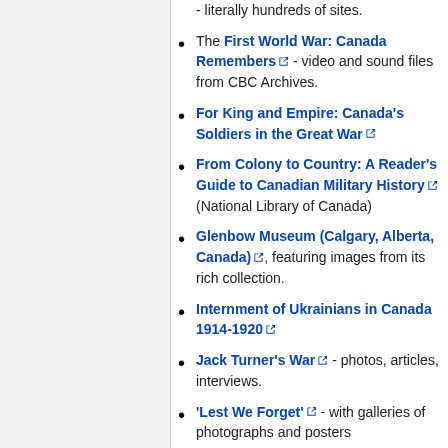- literally hundreds of sites.
The First World War: Canada Remembers [link] - video and sound files from CBC Archives.
For King and Empire: Canada's Soldiers in the Great War [link]
From Colony to Country: A Reader's Guide to Canadian Military History [link] (National Library of Canada)
Glenbow Museum (Calgary, Alberta, Canada) [link], featuring images from its rich collection.
Internment of Ukrainians in Canada 1914-1920 [link]
Jack Turner's War [link] - photos, articles, interviews.
'Lest We Forget' [link] - with galleries of photographs and posters